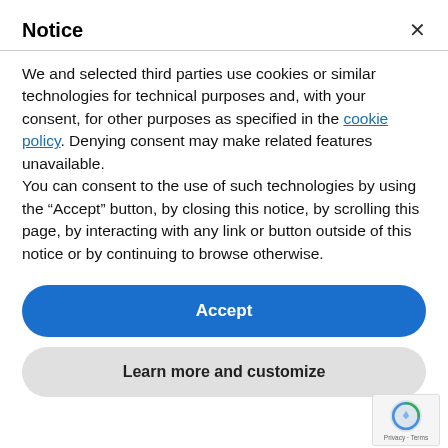Notice
We and selected third parties use cookies or similar technologies for technical purposes and, with your consent, for other purposes as specified in the cookie policy. Denying consent may make related features unavailable.
You can consent to the use of such technologies by using the “Accept” button, by closing this notice, by scrolling this page, by interacting with any link or button outside of this notice or by continuing to browse otherwise.
Accept
Learn more and customize
drawn anodized aluminium or white painted frame. The mirror surface is therefore slightly recessed so as to create an interesting perspective effect. These functional accessories that add a special touch to any context, can